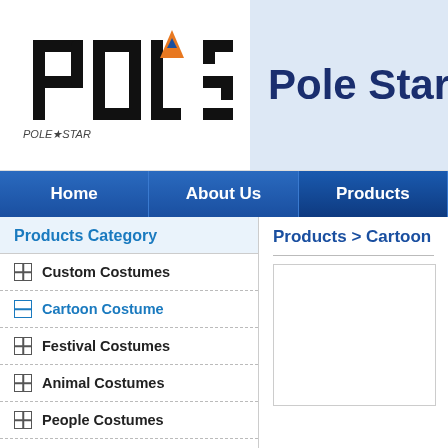[Figure (logo): Pole Star company logo with stylized letter forms and triangular star icon]
Pole Star Co., L
Home | About Us | Products
Products Category
Custom Costumes
Cartoon Costume
Festival Costumes
Animal Costumes
People Costumes
Plant Costumes
Costumes Accessory
Inflatable Costumes
Plush Toys
Products > Cartoon Costu